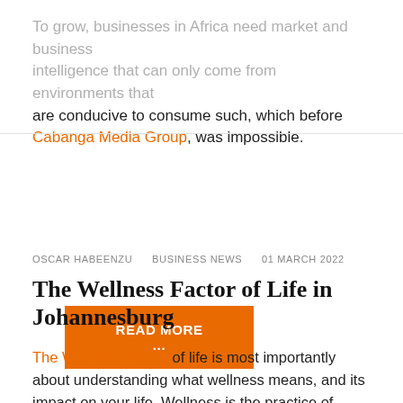To grow, businesses in Africa need market and business intelligence that can only come from environments that are conducive to consume such, which before Cabanga Media Group, was impossible.
READ MORE ...
OSCAR HABEENZU   BUSINESS NEWS   01 MARCH 2022
The Wellness Factor of Life in Johannesburg
The Wellness Factor of life is most importantly about understanding what wellness means, and its impact on your life. Wellness is the practice of healthy habits every day...